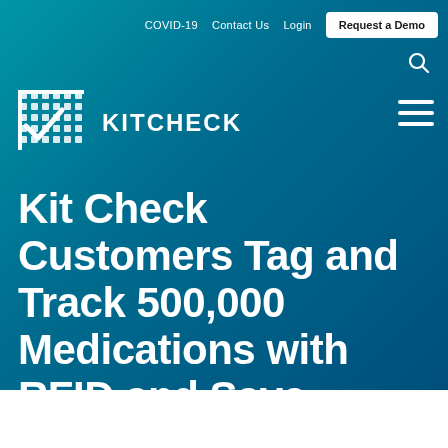COVID-19   Contact Us   Login   Request a Demo
[Figure (logo): Kitcheck logo: grid/checklist icon in white followed by KITCHECK text in white capitals]
Kit Check Customers Tag and Track 500,000 Medications with RFID and Save 35,000 Man Hours